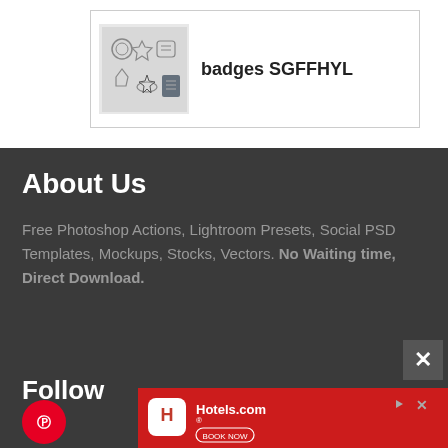[Figure (screenshot): Product card thumbnail showing badge/emblem icons — decorative metallic badges graphic]
badges SGFFHYL
About Us
Free Photoshop Actions, Lightroom Presets, Social PSD Templates, Mockups, Stocks, Vectors. No Waiting time, Direct Download.
Follow Us
[Figure (logo): Pinterest circular red icon button]
[Figure (logo): Hotels.com advertisement banner with red background, Hotels.com logo and BOOK NOW button]